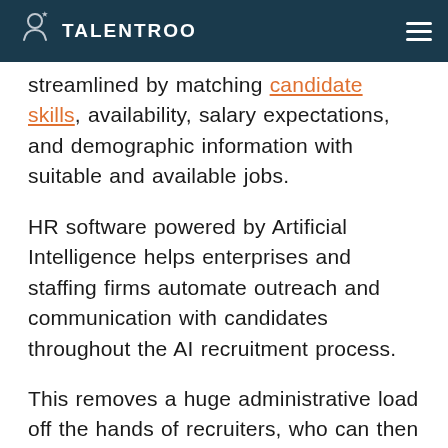TALENTROO
streamlined by matching candidate skills, availability, salary expectations, and demographic information with suitable and available jobs.
HR software powered by Artificial Intelligence helps enterprises and staffing firms automate outreach and communication with candidates throughout the AI recruitment process.
This removes a huge administrative load off the hands of recruiters, who can then focus their energies on engaging more efficiently with